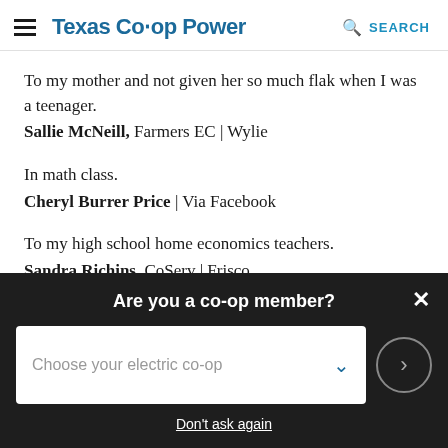Texas Co-op Power | SEARCH
To my mother and not given her so much flak when I was a teenager.
Sallie McNeill, Farmers EC | Wylie
In math class.
Cheryl Burrer Price | Via Facebook
To my high school home economics teachers.
Sandra Richins, CoServ | Frisco
Are you a co-op member?
Choose your electric co-op
Don't ask again